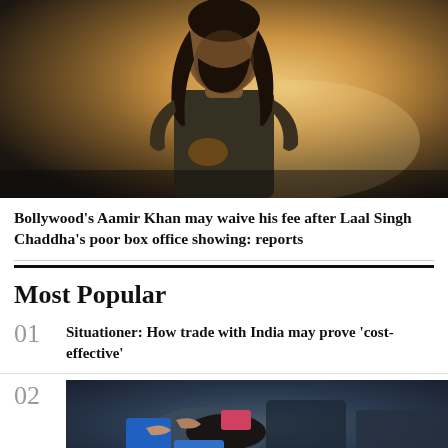[Figure (photo): Bollywood actor Aamir Khan with long hair and beard in a scene or promotional still, warm golden sunset lighting]
Bollywood's Aamir Khan may waive his fee after Laal Singh Chaddha's poor box office showing: reports
Most Popular
01 Situationer: How trade with India may prove 'cost-effective'
02
[Figure (photo): People gathered around someone lying down, possibly a medical or rescue scene, with blue clothing visible]